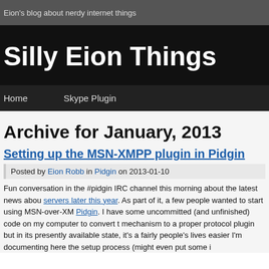Eion's blog about nerdy internet things
Silly Eion Things
Home    Skype Plugin
Archive for January, 2013
Setting up the MSN-XMPP plugin in Pidgin
Posted by Eion Robb in Pidgin on 2013-01-10
Fun conversation in the #pidgin IRC channel this morning about the latest news about servers later this year. As part of it, a few people wanted to start using MSN-over-XM Pidgin. I have some uncommitted (and unfinished) code on my computer to convert t mechanism to a proper protocol plugin but in its presently available state, it's a fairly people's lives easier I'm documenting here the setup process (might even put some i